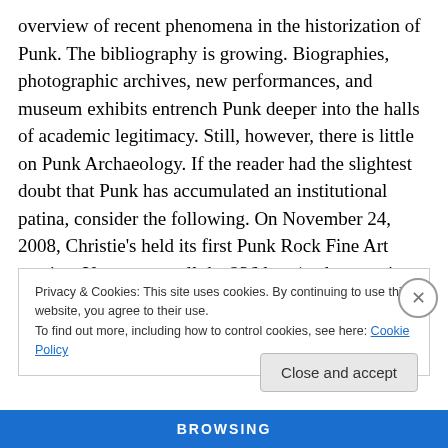overview of recent phenomena in the historization of Punk. The bibliography is growing. Biographies, photographic archives, new performances, and museum exhibits entrench Punk deeper into the halls of academic legitimacy. Still, however, there is little on Punk Archaeology. If the reader had the slightest doubt that Punk has accumulated an institutional patina, consider the following. On November 24, 2008, Christie's held its first Punk Rock Fine Art auction. You can see all the 236 lots (and respective prices) on Christie's website here.
Privacy & Cookies: This site uses cookies. By continuing to use this website, you agree to their use.
To find out more, including how to control cookies, see here: Cookie Policy
Close and accept